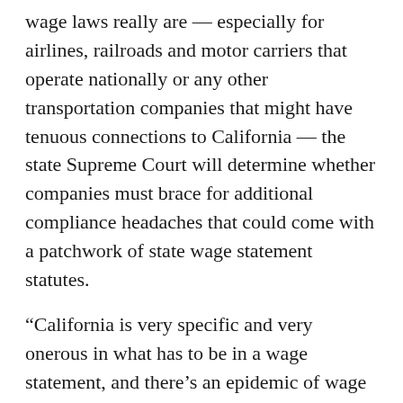wage laws really are — especially for airlines, railroads and motor carriers that operate nationally or any other transportation companies that might have tenuous connections to California — the state Supreme Court will determine whether companies must brace for additional compliance headaches that could come with a patchwork of state wage statement statutes.
“California is very specific and very onerous in what has to be in a wage statement, and there’s an epidemic of wage statement class actions in California and this will simply exacerbate it if the court says, ‘Look, you work four hours in California on a stopover and your wage statement now has to comply with California law.’ It’s fraught with peril,” Sulzer said.